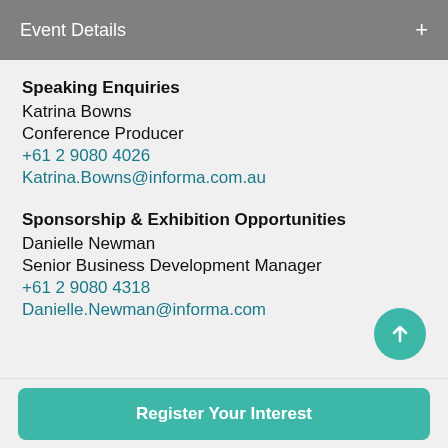Event Details
Speaking Enquiries
Katrina Bowns
Conference Producer
+61 2 9080 4026
Katrina.Bowns@informa.com.au
Sponsorship & Exhibition Opportunities
Danielle Newman
Senior Business Development Manager
+61 2 9080 4318
Danielle.Newman@informa.com
Register Your Interest